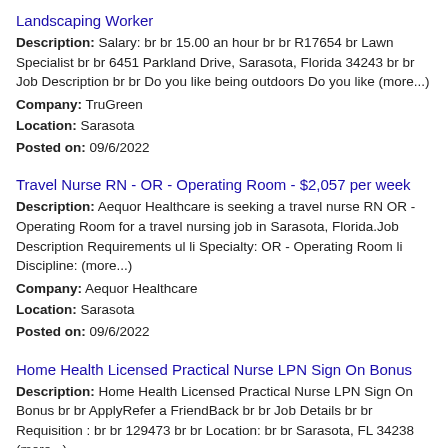Landscaping Worker
Description: Salary: br br 15.00 an hour br br R17654 br Lawn Specialist br br 6451 Parkland Drive, Sarasota, Florida 34243 br br Job Description br br Do you like being outdoors Do you like (more...)
Company: TruGreen
Location: Sarasota
Posted on: 09/6/2022
Travel Nurse RN - OR - Operating Room - $2,057 per week
Description: Aequor Healthcare is seeking a travel nurse RN OR - Operating Room for a travel nursing job in Sarasota, Florida.Job Description Requirements ul li Specialty: OR - Operating Room li Discipline: (more...)
Company: Aequor Healthcare
Location: Sarasota
Posted on: 09/6/2022
Home Health Licensed Practical Nurse LPN Sign On Bonus
Description: Home Health Licensed Practical Nurse LPN Sign On Bonus br br ApplyRefer a FriendBack br br Job Details br br Requisition : br br 129473 br br Location: br br Sarasota, FL 34238 (more...)